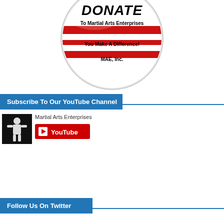[Figure (illustration): A circular button/badge with red and white stripes. Top text reads 'DONATE' in bold black italic. Below: 'To Martial Arts Enterprises', 'You Make A Difference!', 'MAE, Inc.']
Subscribe To Our YouTube Channel
[Figure (logo): Martial Arts Enterprises YouTube channel thumbnail - dark background with martial arts figures]
Martial Arts Enterprises
[Figure (logo): YouTube subscribe button - red background with YouTube play icon and text 'YouTube']
Follow Us On Twitter